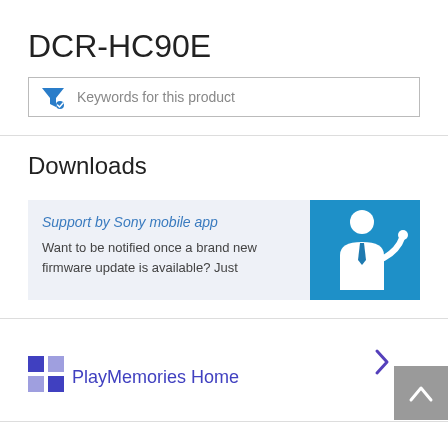DCR-HC90E
[Figure (screenshot): Search filter input box with blue funnel/filter icon and placeholder text 'Keywords for this product']
Downloads
[Figure (infographic): Support by Sony mobile app card with blue background illustration of a person presenting]
Support by Sony mobile app
Want to be notified once a brand new firmware update is available? Just
[Figure (logo): PlayMemories Home logo icon - blue/purple grid squares]
PlayMemories Home